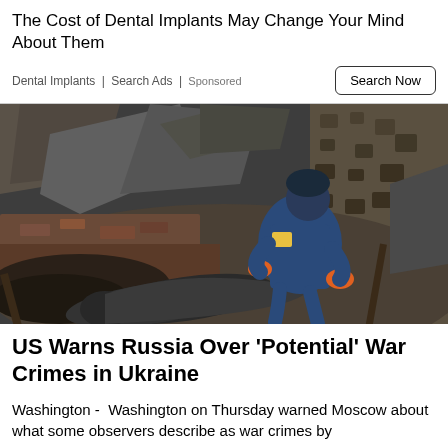The Cost of Dental Implants May Change Your Mind About Them
Dental Implants | Search Ads | Sponsored
[Figure (photo): A person in a blue uniform and orange gloves crouching among rubble and destroyed debris at a war-damaged site, examining a large metal cylinder (likely unexploded ordnance).]
US Warns Russia Over 'Potential' War Crimes in Ukraine
Washington -  Washington on Thursday warned Moscow about what some observers describe as war crimes by